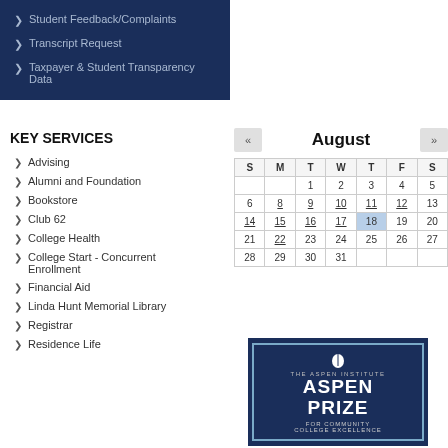Student Feedback/Complaints
Transcript Request
Taxpayer & Student Transparency Data
KEY SERVICES
Advising
Alumni and Foundation
Bookstore
Club 62
College Health
College Start - Concurrent Enrollment
Financial Aid
Linda Hunt Memorial Library
Registrar
Residence Life
[Figure (other): August calendar widget with navigation arrows, showing days 1-31. Day 18 is highlighted in blue. Several days (8,9,10,11,12,14,15,16,17,22) are underlined indicating links.]
[Figure (logo): The Aspen Institute Aspen Prize for Community College Excellence badge/seal in dark navy blue with white text and leaf icon]